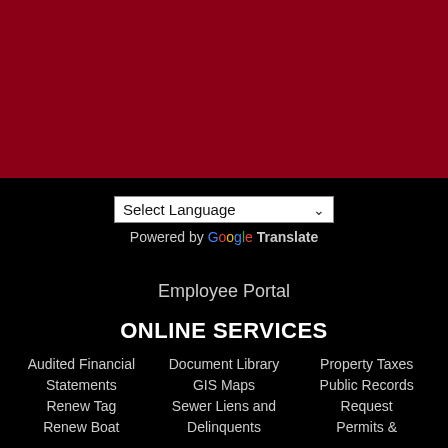[Figure (other): Dark red / maroon background section at the top of the page]
Select Language
Powered by Google Translate
Employee Portal
ONLINE SERVICES
Audited Financial Statements
Renew Tag
Renew Boat
Document Library
GIS Maps
Sewer Liens and Delinquents
Property Taxes
Public Records Request
Permits &